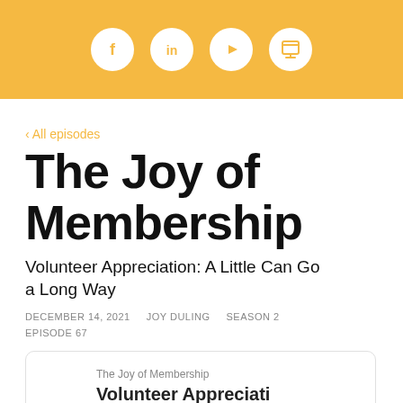[Figure (other): Orange/yellow header bar with four circular white social media icons: Facebook, LinkedIn, YouTube, and a website/RSS icon]
‹ All episodes
The Joy of Membership
Volunteer Appreciation: A Little Can Go a Long Way
DECEMBER 14, 2021    JOY DULING    SEASON 2    EPISODE 67
[Figure (screenshot): Podcast episode card showing 'The Joy of Membership' label and bold text 'Volunteer Appreciati...' (truncated)]